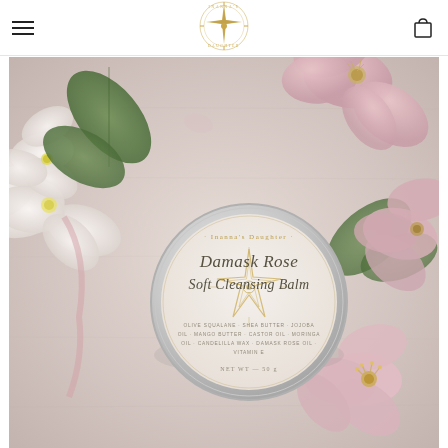Inanna's Daughter — navigation header with hamburger menu, logo, and cart icon
[Figure (photo): A flat-lay photograph of a round metal tin of 'Inanna's Daughter Damask Rose Soft Cleansing Balm' surrounded by pink hellebore flowers and white petals on a linen background. The tin label shows a star design and text: 'Damask Rose Soft Cleansing Balm', with ingredient text and 'NET WT — 50 g'.]